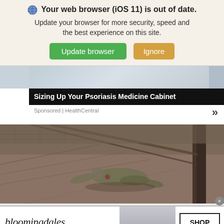Your web browser (iOS 11) is out of date. Update your browser for more security, speed and the best experience on this site. Update browser | Ignore
[Figure (screenshot): Article card showing 'Sizing Up Your Psoriasis Medicine Cabinet' with Sponsored | HealthCentral label, partial header image]
[Figure (photo): Black and white war photograph showing a soldier crawling on ground near a dark post or pole, viewed from above]
[Figure (infographic): Bloomingdales advertisement: logo, 'View Today's Top Deals!', model in hat, SHOP NOW button]